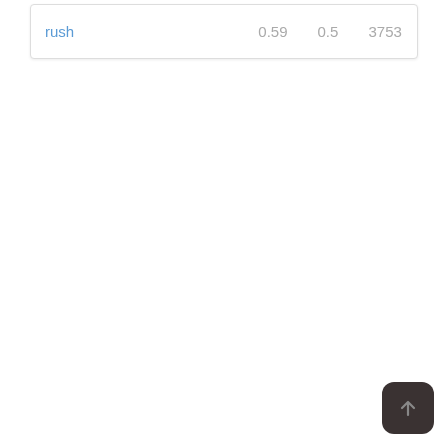| rush | 0.59 | 0.5 | 3753 |
[Figure (other): Dark rounded square scroll-to-top button with upward arrow icon]